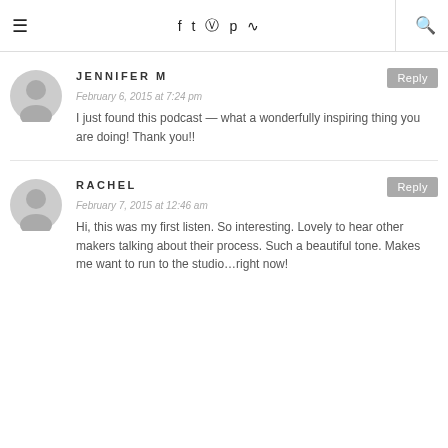≡  f  twitter  instagram  pinterest  rss  🔍
JENNIFER M
February 6, 2015 at 7:24 pm
I just found this podcast — what a wonderfully inspiring thing you are doing! Thank you!!
RACHEL
February 7, 2015 at 12:46 am
Hi, this was my first listen. So interesting. Lovely to hear other makers talking about their process. Such a beautiful tone. Makes me want to run to the studio…right now!